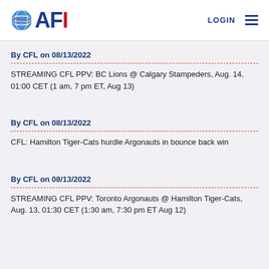AFI LOGIN
By CFL on 08/13/2022
STREAMING CFL PPV: BC Lions @ Calgary Stampeders, Aug. 14, 01:00 CET (1 am, 7 pm ET, Aug 13)
By CFL on 08/13/2022
CFL: Hamilton Tiger-Cats hurdle Argonauts in bounce back win
By CFL on 08/13/2022
STREAMING CFL PPV: Toronto Argonauts @ Hamilton Tiger-Cats, Aug. 13, 01:30 CET (1:30 am, 7:30 pm ET Aug 12)